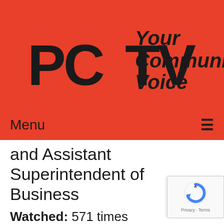[Figure (logo): PCTV logo with text 'Your Community Voice' on red background]
Menu
and Assistant Superintendent of Business
Watched: 571 times
[Figure (screenshot): Thumbnail image of two people seated at a table, possibly a meeting or interview setting]
The Board of